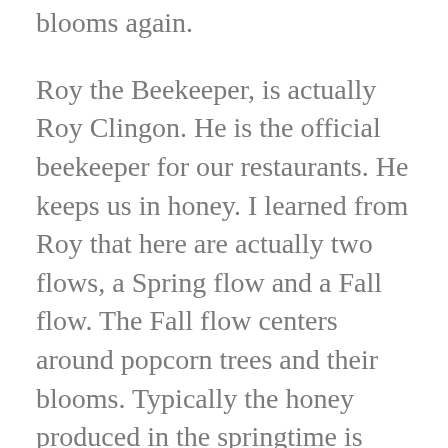blooms again.
Roy the Beekeeper, is actually Roy Clingon. He is the official beekeeper for our restaurants. He keeps us in honey. I learned from Roy that here are actually two flows, a Spring flow and a Fall flow. The Fall flow centers around popcorn trees and their blooms. Typically the honey produced in the springtime is lighter colored, Fall honey is darker.
We have two hives that produce honey for The Purple Parrot Café, and earlier this Spring, we added eight more. We will apparently need the